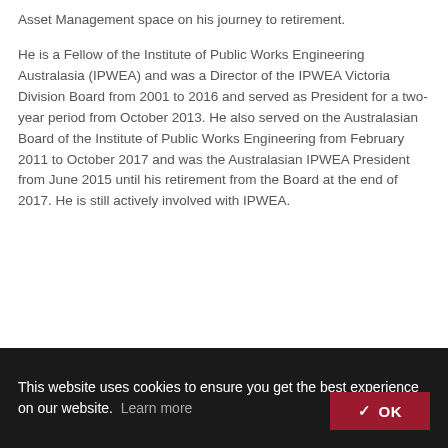Asset Management space on his journey to retirement.
He is a Fellow of the Institute of Public Works Engineering Australasia (IPWEA) and was a Director of the IPWEA Victoria Division Board from 2001 to 2016 and served as President for a two-year period from October 2013. He also served on the Australasian Board of the Institute of Public Works Engineering from February 2011 to October 2017 and was the Australasian IPWEA President from June 2015 until his retirement from the Board at the end of 2017. He is still actively involved with IPWEA.
This website uses cookies to ensure you get the best experience on our website. Learn more